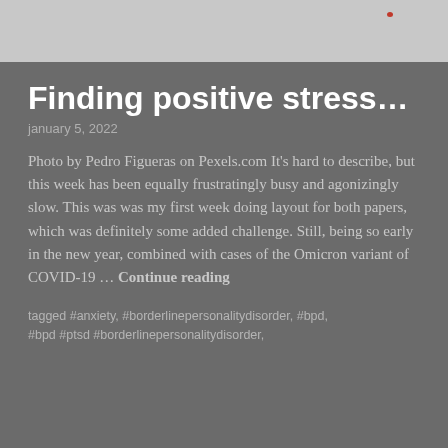[Figure (photo): Light-colored photo placeholder with a small red dot visible in the upper right area]
Finding positive stress…
january 5, 2022
Photo by Pedro Figueras on Pexels.com It's hard to describe, but this week has been equally frustratingly busy and agonizingly slow. This was was my first week doing layout for both papers, which was definitely some added challenge. Still, being so early in the new year, combined with cases of the Omicron variant of COVID-19 … Continue reading
tagged #anxiety, #borderlinepersonalitydisorder, #bpd, #bpd #ptsd #borderlinepersonalitydisorder,